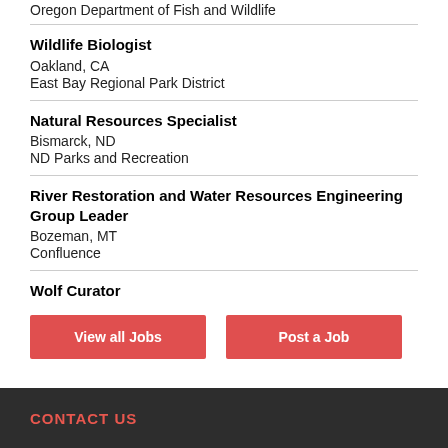Oregon Department of Fish and Wildlife
Wildlife Biologist
Oakland, CA
East Bay Regional Park District
Natural Resources Specialist
Bismarck, ND
ND Parks and Recreation
River Restoration and Water Resources Engineering Group Leader
Bozeman, MT
Confluence
Wolf Curator
View all Jobs | Post a Job
CONTACT US